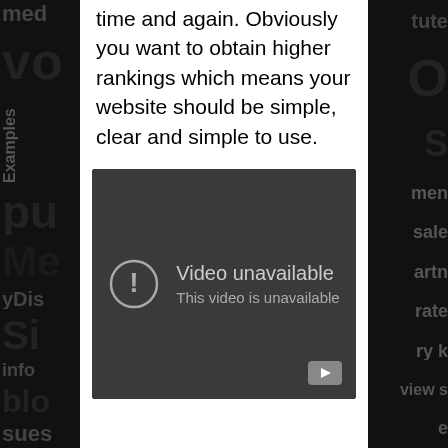time and again. Obviously you want to obtain higher rankings which means your website should be simple, clear and simple to use.
[Figure (screenshot): Embedded video player showing 'Video unavailable / This video is unavailable' error message on a dark background with YouTube play button in the corner.]